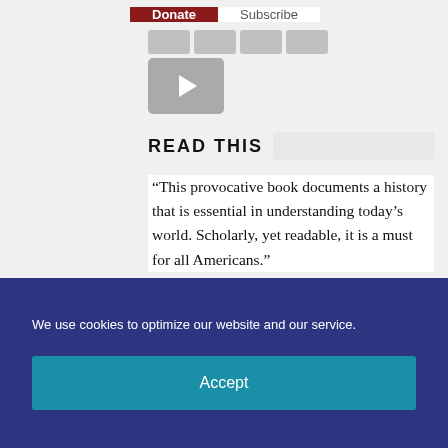Donate  Subscribe
[Figure (screenshot): YouTube play button thumbnail placeholder, grey square with white play triangle icon]
READ THIS
“This provocative book documents a history that is essential in understanding today’s world. Scholarly, yet readable, it is a must for all Americans.”
We use cookies to optimize our website and our service.
Accept